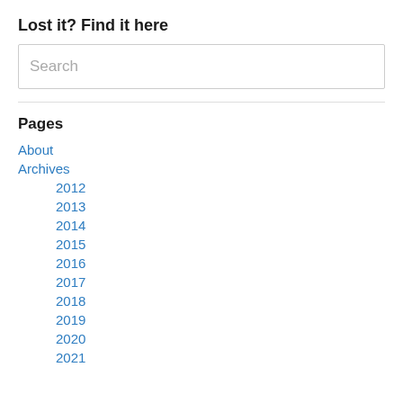Lost it? Find it here
Search
Pages
About
Archives
2012
2013
2014
2015
2016
2017
2018
2019
2020
2021